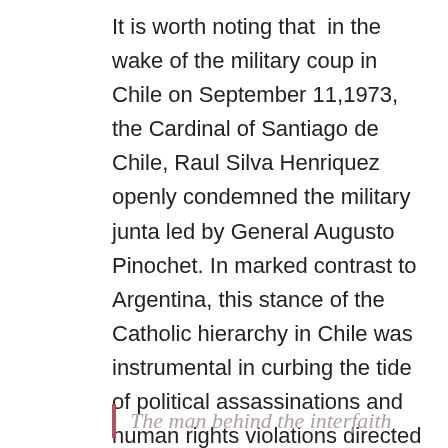It is worth noting that in the wake of the military coup in Chile on September 11,1973, the Cardinal of Santiago de Chile, Raul Silva Henriquez openly condemned the military junta led by General Augusto Pinochet. In marked contrast to Argentina, this stance of the Catholic hierarchy in Chile was instrumental in curbing the tide of political assassinations and human rights violations directed against supporters of Salvador Allende and opponents of the military regime.
The man behind the interfaith